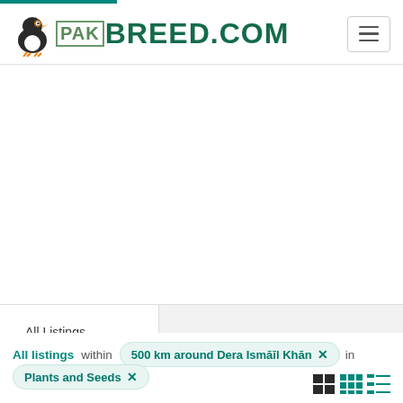PAK BREED.COM
All Listings
All listings within 500 km around Dera Ismāīl Khān × in
Plants and Seeds ×